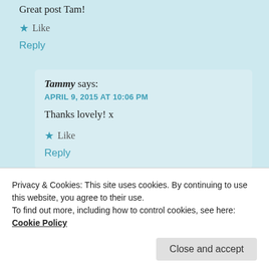Great post Tam!
★ Like
Reply
Tammy says:
APRIL 9, 2015 AT 10:06 PM
Thanks lovely! x
★ Like
Reply
Privacy & Cookies: This site uses cookies. By continuing to use this website, you agree to their use.
To find out more, including how to control cookies, see here: Cookie Policy
Close and accept